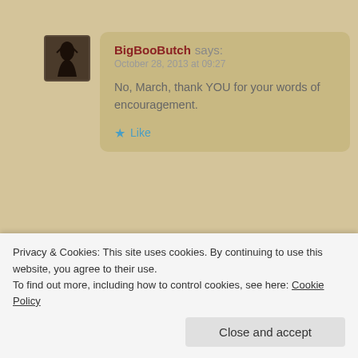BigBooButch says: October 28, 2013 at 09:27
No, March, thank YOU for your words of encouragement.
Like
Peggy Luhrs says: October 28, 2013 at 13:00
Privacy & Cookies: This site uses cookies. By continuing to use this website, you agree to their use.
To find out more, including how to control cookies, see here: Cookie Policy
Close and accept